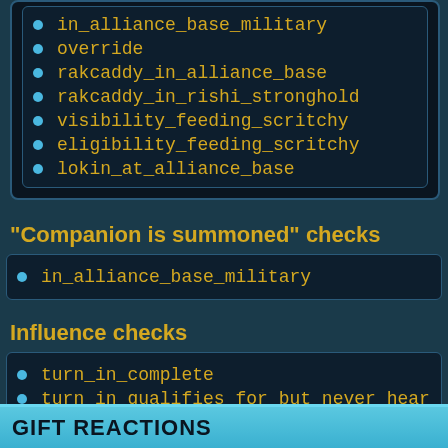in_alliance_base_military
override
rakcaddy_in_alliance_base
rakcaddy_in_rishi_stronghold
visibility_feeding_scritchy
eligibility_feeding_scritchy
lokin_at_alliance_base
"Companion is summoned" checks
in_alliance_base_military
Influence checks
turn_in_complete
turn_in_qualifies_for_but_never_heard_progress
turn_in_progress_made
GIFT REACTIONS